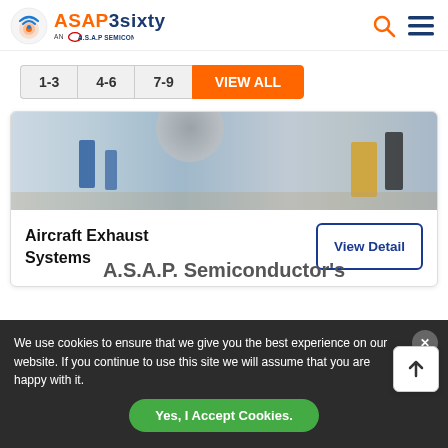[Figure (logo): ASAP3sixty logo - AN A.S.A.P SEMICONDUCTOR WEBSITE with orange and dark blue branding]
[Figure (other): Navigation tabs: 1-3, 4-6, 7-9, VIEW ALL (orange active)]
[Figure (photo): Industrial/aircraft manufacturing facility with workers in blue coveralls]
Aircraft Exhaust Systems
View Detail
A.S.A.P. Semiconductor's
We use cookies to ensure that we give you the best experience on our website. If you continue to use this site we will assume that you are happy with it.
Yes, I Accept Cookies.